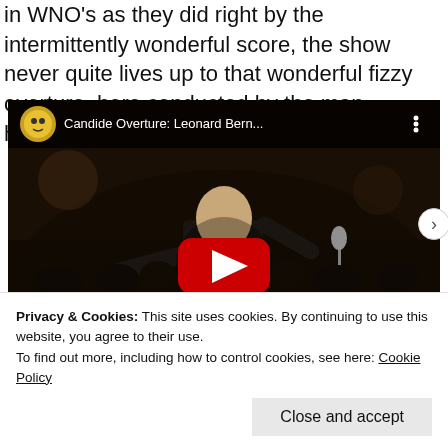in WNO's as they did right by the intermittently wonderful score, the show never quite lives up to that wonderful fizzy overture, here conducted by the man himself.
[Figure (screenshot): YouTube video embed showing a conductor (Leonard Bernstein) performing on stage with an orchestra. The video title reads 'Candide Overture: Leonard Bern...' with a YouTube play button overlay.]
Privacy & Cookies: This site uses cookies. By continuing to use this website, you agree to their use.
To find out more, including how to control cookies, see here: Cookie Policy